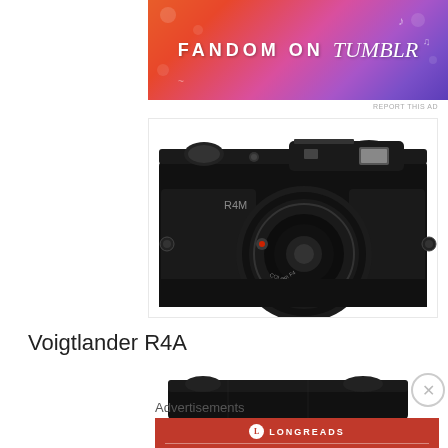[Figure (screenshot): Fandom on Tumblr banner advertisement with colorful gradient background in orange, pink, and purple tones]
REPORT THIS AD
[Figure (photo): Front view of a Voigtlander R4M black rangefinder camera with 21mm Color-Skopar lens]
Voigtlander R4A
[Figure (photo): Top view of a black rangefinder camera body]
Advertisements
[Figure (screenshot): Longreads advertisement: The best stories on the web — ours, and everyone else's.]